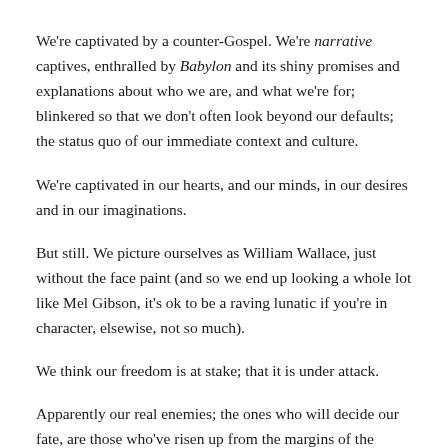We're captivated by a counter-Gospel. We're narrative captives, enthralled by Babylon and its shiny promises and explanations about who we are, and what we're for; blinkered so that we don't often look beyond our defaults; the status quo of our immediate context and culture.
We're captivated in our hearts, and our minds, in our desires and in our imaginations.
But still. We picture ourselves as William Wallace, just without the face paint (and so we end up looking a whole lot like Mel Gibson, it's ok to be a raving lunatic if you're in character, elsewise, not so much).
We think our freedom is at stake; that it is under attack.
Apparently our real enemies; the ones who will decide our fate, are those who've risen up from the margins of the empire who